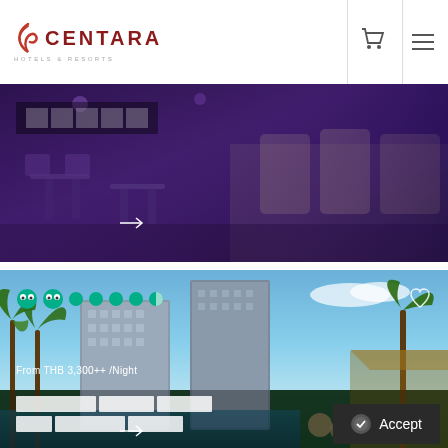[Figure (logo): Centara Hotels & Resorts logo with flame icon and red text]
[Figure (photo): Restaurant interior with tables and chairs under purple/blue lighting]
█████
[Figure (photo): Centara Grand hotel resort exterior with palm trees and pool, showing TripAdvisor rating and price From THB 3,300++ /Night]
From THB 3,300++ /Night
████████ ███████ ██████ ███ ████████ ██████
Accept